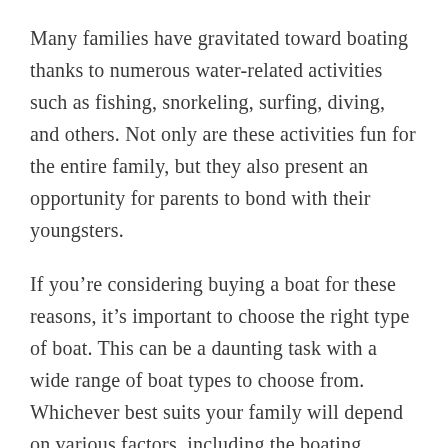Many families have gravitated toward boating thanks to numerous water-related activities such as fishing, snorkeling, surfing, diving, and others. Not only are these activities fun for the entire family, but they also present an opportunity for parents to bond with their youngsters.
If you're considering buying a boat for these reasons, it's important to choose the right type of boat. This can be a daunting task with a wide range of boat types to choose from. Whichever best suits your family will depend on various factors, including the boating activities you enjoy as a bunch and the size you prefer.
To help you narrow down your choices for the perfect family boat, Kids Car Donations has rounded up five of the best types for family boating.